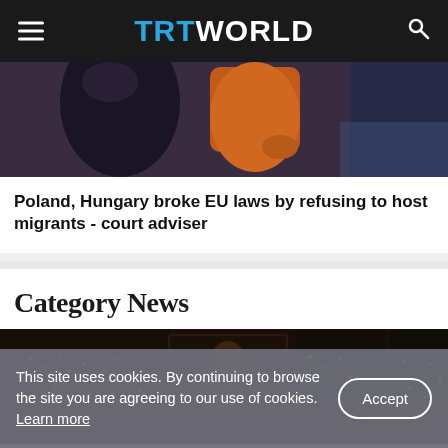TRT WORLD
[Figure (photo): Close-up photo of people, one wearing orange clothing, another in dark clothing, likely migrants at a border or crossing area.]
Poland, Hungary broke EU laws by refusing to host migrants - court adviser
Category News
[Figure (photo): Dark interior scene showing candles and what appears to be a person in a contemplative pose, with decorative lit elements visible.]
This site uses cookies. By continuing to browse the site you are agreeing to our use of cookies. Learn more